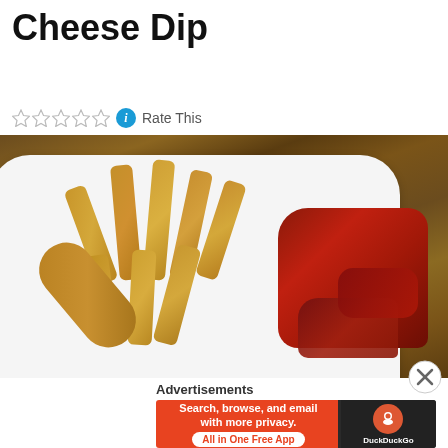Buffalo Wings with Blue Cheese Dip
Rate This
[Figure (photo): Overhead view of a white plate with potato wedge fries and buffalo chicken wings on a wooden table surface]
Advertisements
[Figure (screenshot): DuckDuckGo advertisement banner: Search, browse, and email with more privacy. All in One Free App]